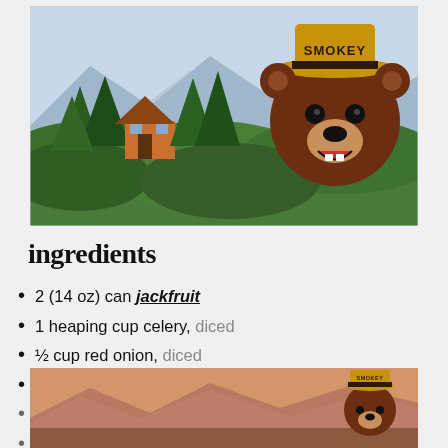[Figure (illustration): Smokey Bear cartoon illustration with a ranger hat labeled 'SMOKEY', set against a forest/mountain landscape background with a cabin, green trees, rolling hills, and blue mountains]
ingredients
2 (14 oz) can jackfruit
1 heaping cup celery, diced
½ cup red onion, diced
½ cup dill pickle, diced
2 t... (partially visible)
½ ... (partially visible)
[Figure (illustration): Small Smokey Bear advertisement banner at the bottom, showing Smokey Bear with ranger hat against a sunset/mountain landscape background]